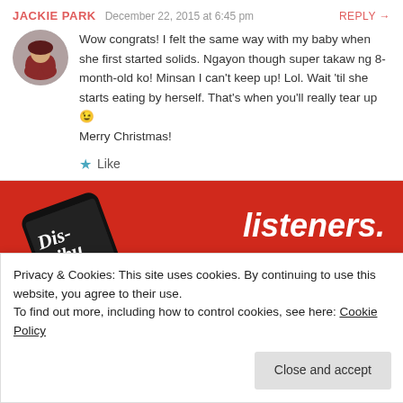JACKIE PARK   December 22, 2015 at 6:45 pm   REPLY →
Wow congrats! I felt the same way with my baby when she first started solids. Ngayon though super takaw ng 8-month-old ko! Minsan I can't keep up! Lol. Wait 'til she starts eating by herself. That's when you'll really tear up 😉 Merry Christmas!
★ Like
[Figure (screenshot): Red advertisement banner for a podcast app showing a phone and text 'Dis-tri-bu-ted listeners.' with a 'Download now' button]
Privacy & Cookies: This site uses cookies. By continuing to use this website, you agree to their use.
To find out more, including how to control cookies, see here: Cookie Policy
Close and accept